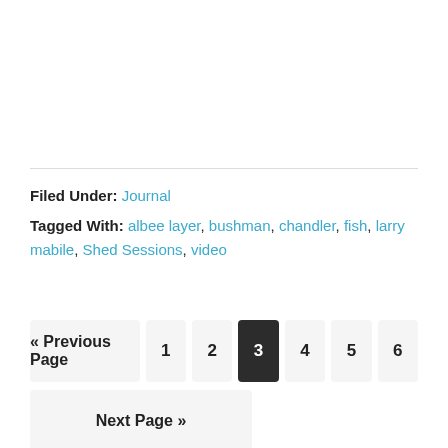Filed Under: Journal
Tagged With: albee layer, bushman, chandler, fish, larry mabile, Shed Sessions, video
« Previous Page  1  2  3  4  5  6  Next Page »